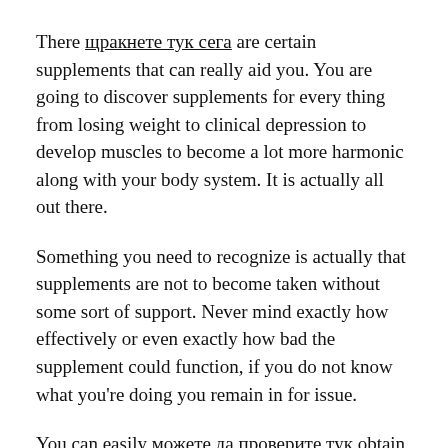There щракнете тук сега are certain supplements that can really aid you. You are going to discover supplements for every thing from losing weight to clinical depression to develop muscles to become a lot more harmonic along with your body system. It is actually all out there.
Something you need to recognize is actually that supplements are not to become taken without some sort of support. Never mind exactly how effectively or even exactly how bad the supplement could function, if you do not know what you're doing you remain in for issue.
You can easily можете да проверите тук obtain a considerable amount of supplements at your local area medication outlet. The much more costly supplements often tend to become much more